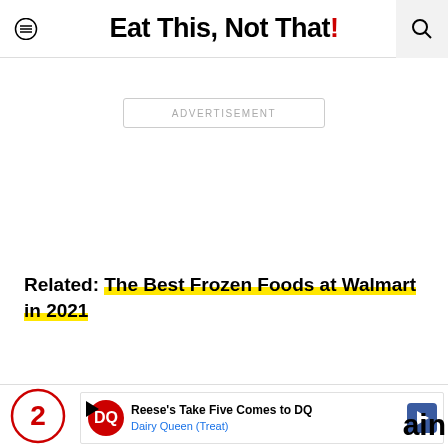Eat This, Not That!
ADVERTISEMENT
Related: The Best Frozen Foods at Walmart in 2021
[Figure (other): Bottom advertisement banner: Reese's Take Five Comes to DQ, Dairy Queen (Treat)]
2